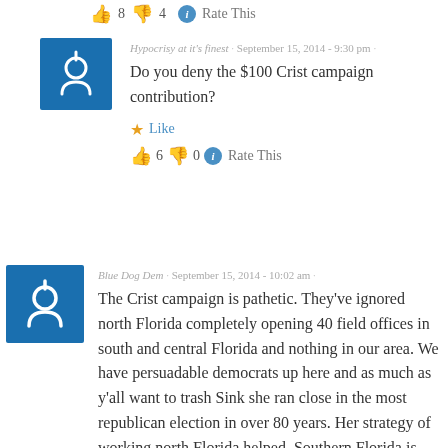👍 8 👎 4 ℹ Rate This
Hypocrisy at it's finest · September 15, 2014 - 9:30 pm · Do you deny the $100 Crist campaign contribution? ★ Like 👍 6 👎 0 ℹ Rate This
Blue Dog Dem · September 15, 2014 - 10:02 am · The Crist campaign is pathetic. They've ignored north Florida completely opening 40 field offices in south and central Florida and nothing in our area. We have persuadable democrats up here and as much as y'all want to trash Sink she ran close in the most republican election in over 80 years. Her strategy of working north Florida helped. Southern Florida is full of democrats who